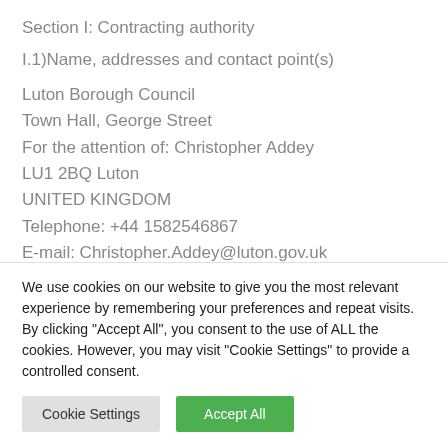Section I: Contracting authority
I.1)Name, addresses and contact point(s)
Luton Borough Council
Town Hall, George Street
For the attention of: Christopher Addey
LU1 2BQ Luton
UNITED KINGDOM
Telephone: +44 1582546867
E-mail: Christopher.Addey@luton.gov.uk
We use cookies on our website to give you the most relevant experience by remembering your preferences and repeat visits. By clicking "Accept All", you consent to the use of ALL the cookies. However, you may visit "Cookie Settings" to provide a controlled consent.